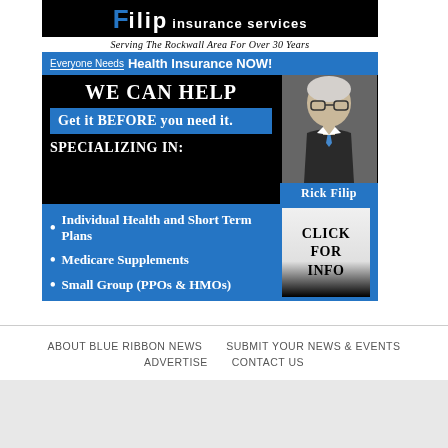[Figure (infographic): Filip Insurance Services advertisement banner. Black background with blue accents. Header shows 'Filip insurance services - Serving The Rockwall Area For Over 30 Years'. Blue strip says 'Everyone Needs Health Insurance NOW!'. Text reads 'WE CAN HELP', 'Get it BEFORE you need it.', 'SPECIALIZING IN:'. Photo of Rick Filip on right. Blue section lists bullet points: Individual Health and Short Term Plans, Medicare Supplements, Small Group (PPOs & HMOs). Click For Info box.]
ABOUT BLUE RIBBON NEWS   SUBMIT YOUR NEWS & EVENTS   ADVERTISE   CONTACT US